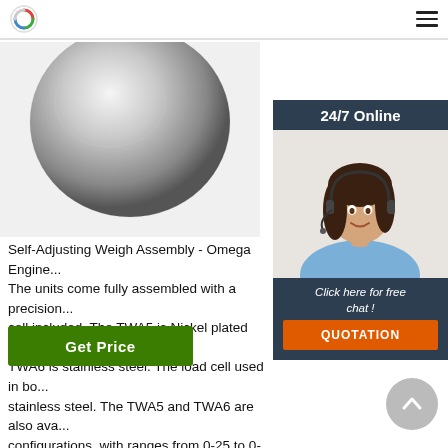[Figure (photo): Close-up of a metallic ball/sphere component — part of a Self-Adjusting Weigh Assembly product]
[Figure (photo): 24/7 Online chat widget showing a smiling female customer service representative wearing a headset]
Self-Adjusting Weigh Assembly - Omega Engineer... The units come fully assembled with a precision... cell included. The TWA5 is Nickel plated carbon... TWA6 is stainless steel. The load cell used in bo... stainless steel. The TWA5 and TWA6 are also ava... configurations, with ranges from 0-25 to 0-10,00...
Get Price